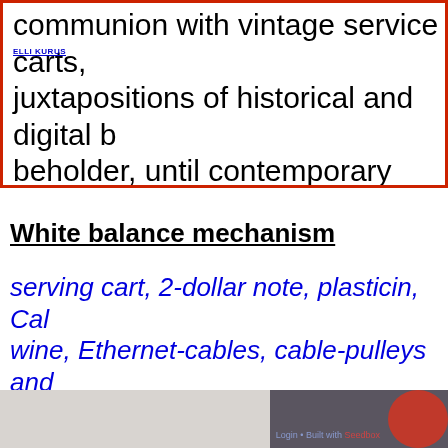ELLI KURUS
communion with vintage service carts, juxtapositions of historical and digital beholder, until contemporary practices their historical specificity. Under the n regiments are destabilized, offering a alternative systems of distributing and
White balance mechanism
serving cart, 2-dollar note, plasticin, Cal wine, Ethernet-cables, cable-pulleys and loop "Prototype of visual optimisation": 2016
Login • Built with Seedbox